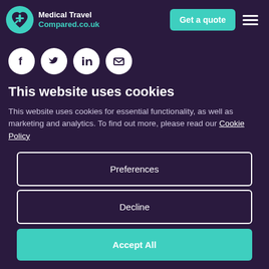[Figure (logo): Medical Travel Compared.co.uk logo with teal heart and airplane icon]
[Figure (screenshot): Get a quote button (teal) and hamburger menu icon in header]
[Figure (infographic): Four social media icons in white circles: Facebook, Twitter, LinkedIn, Email]
This website uses cookies
This website uses cookies for essential functionality, as well as marketing and analytics. To find out more, please read our Cookie Policy
Preferences
Decline
Accept All